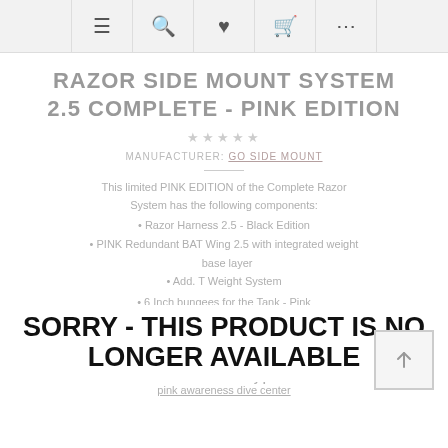≡  🔍  ♥  🛒  ...
RAZOR SIDE MOUNT SYSTEM 2.5 COMPLETE - PINK EDITION
★★★★★
MANUFACTURER: GO SIDE MOUNT
This limited PINK EDITION of the Complete Razor System has the following components:
Razor Harness 2.5 - Black Edition
PINK Redundant BAT Wing 2.5 with integrated weight base layer
Add. T Weight System
6 Inch bungees for the Tank - Pink
Crotch webbing - Black
Pink Expandable Side Mount Pouch
2 black Double Enders for the Pouch
SORRY - THIS PRODUCT IS NO LONGER AVAILABLE
Find more info about why pink here:
pink awareness dive center